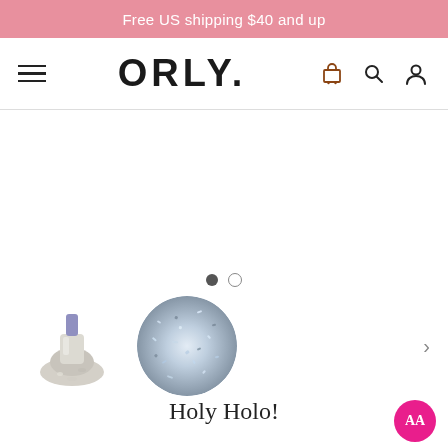Free US shipping $40 and up
[Figure (logo): ORLY brand logo with hamburger menu, cart, search, and user icons in navigation bar]
[Figure (photo): White empty hero image area for product slideshow, with two carousel indicator dots below]
[Figure (photo): Product thumbnails: nail polish bottle with glitter base and circular swatch of silver holographic glitter, with right arrow navigation]
Holy Holo!